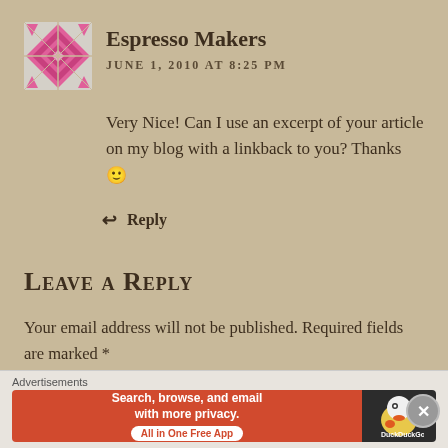Espresso Makers
JUNE 1, 2010 AT 8:25 PM
Very Nice! Can I use an excerpt of your article on my blog with a linkback to you? Thanks 🙂
↩ Reply
Leave a Reply
Your email address will not be published. Required fields are marked *
Comment *
[Figure (other): DuckDuckGo advertisement banner: orange left side with text 'Search, browse, and email with more privacy. All in One Free App', dark right side with DuckDuckGo duck logo]
Advertisements